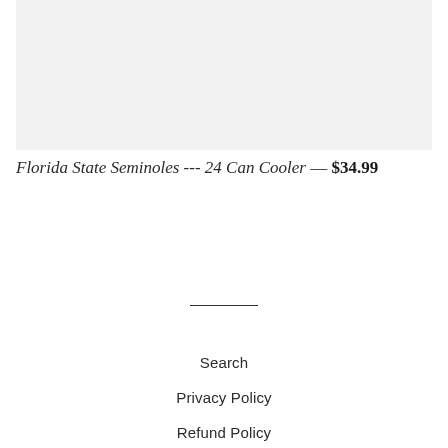[Figure (photo): Light gray product image placeholder area]
Florida State Seminoles --- 24 Can Cooler — $34.99
Search
Privacy Policy
Refund Policy